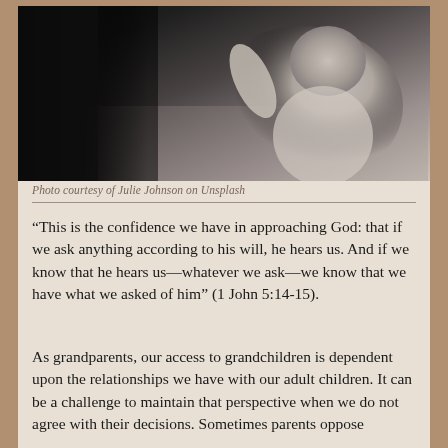[Figure (photo): Black and white photo showing what appears to be a child reaching up toward an adult, viewed from behind. The child has light curly hair and is wearing a white top.]
Photo courtesy of Julie Johnson on Unsplash
“This is the confidence we have in approaching God: that if we ask anything according to his will, he hears us. And if we know that he hears us—whatever we ask—we know that we have what we asked of him” (1 John 5:14-15).
As grandparents, our access to grandchildren is dependent upon the relationships we have with our adult children. It can be a challenge to maintain that perspective when we do not agree with their decisions. Sometimes parents oppose